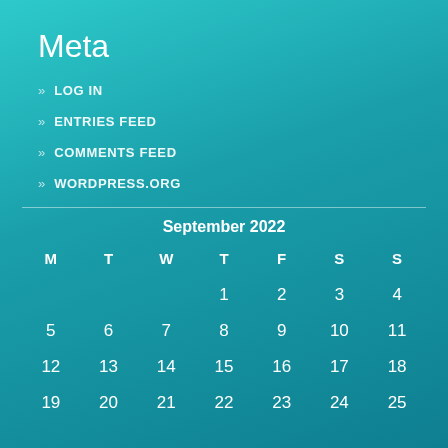Meta
» LOG IN
» ENTRIES FEED
» COMMENTS FEED
» WORDPRESS.ORG
| M | T | W | T | F | S | S |
| --- | --- | --- | --- | --- | --- | --- |
|  |  |  | 1 | 2 | 3 | 4 |
| 5 | 6 | 7 | 8 | 9 | 10 | 11 |
| 12 | 13 | 14 | 15 | 16 | 17 | 18 |
| 19 | 20 | 21 | 22 | 23 | 24 | 25 |